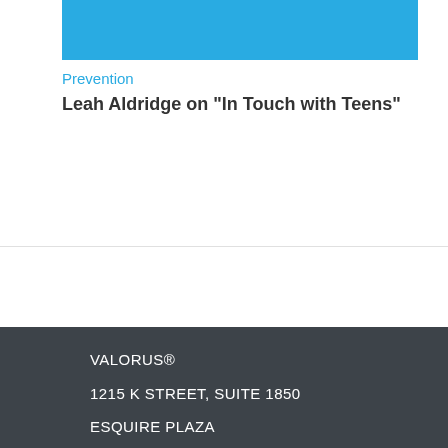[Figure (other): Teal/cyan colored header bar image]
Prevention
Leah Aldridge on "In Touch with Teens"
VALORUS®
1215 K STREET, SUITE 1850
ESQUIRE PLAZA